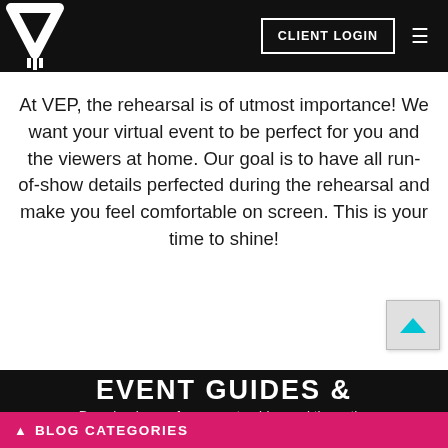CLIENT LOGIN
At VEP, the rehearsal is of utmost importance! We want your virtual event to be perfect for you and the viewers at home. Our goal is to have all run-of-show details perfected during the rehearsal and make you feel comfortable on screen. This is your time to shine!
EVENT GUIDES & RESOURCES
Download one of our event guides and throw the
BLOG CATEGORIES